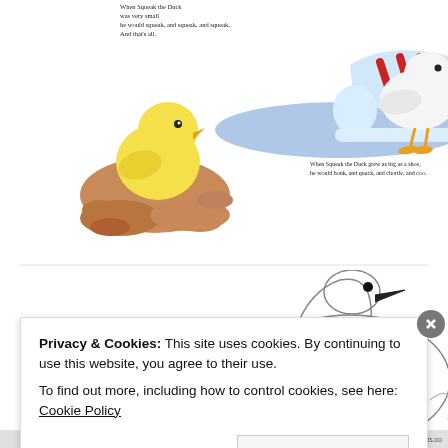[Figure (illustration): Children's book illustration: top section shows a yellow chick held in cupped hands on the left, and a white duck standing next to a red and blue sneaker on the right. Text overlay reads poem lines about Squeak the Duck being very small and squeaking.]
When Squeak the Duck was very small he would squeak, and squeak, and squeak. And that's all.
When Squeak the Duck grew as big as a shoe, he would honk, and quack, and chortle, and coo.
[Figure (illustration): Children's book illustration: bottom section shows a sequence of growing ducks/geese, from small ducklings on the left to a large white goose/swan on the right, illustrating growth. Text overlay reads 'Bigger and bigger and whiter he grew'.]
Bigger and bigger and whiter he grew
Privacy & Cookies: This site uses cookies. By continuing to use this website, you agree to their use. To find out more, including how to control cookies, see here: Cookie Policy
Close and accept